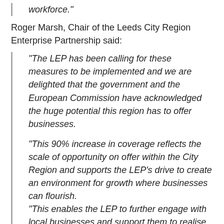“workforce.”
Roger Marsh, Chair of the Leeds City Region Enterprise Partnership said:
“The LEP has been calling for these measures to be implemented and we are delighted that the government and the European Commission have acknowledged the huge potential this region has to offer businesses.
“This 90% increase in coverage reflects the scale of opportunity on offer within the City Region and supports the LEP’s drive to create an environment for growth where businesses can flourish.
“This enables the LEP to further engage with local businesses and support them to realise their growth potential whilst increasing our offer to a national and international investment audience.”
Large companies within the Assisted Area will become eligible to access government financial support, such as the Regional Growth Fund, with a relaxation of Regional Aid